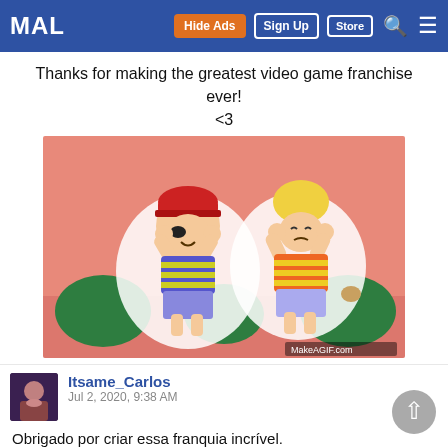MAL | Hide Ads | Sign Up | Store | Search | Menu
Thanks for making the greatest video game franchise ever!
<3
[Figure (illustration): Animated GIF of two cartoon characters (Ness and Lucas from EarthBound/Mother series) with striped shirts dancing on a pink/salmon background with green bushes. Watermark reads MakeAGIF.com]
Itsame_Carlos
Jul 2, 2020, 9:38 AM
Obrigado por criar essa franquia incrível.
Por favor entre na minha casa e coma o cu da minha família